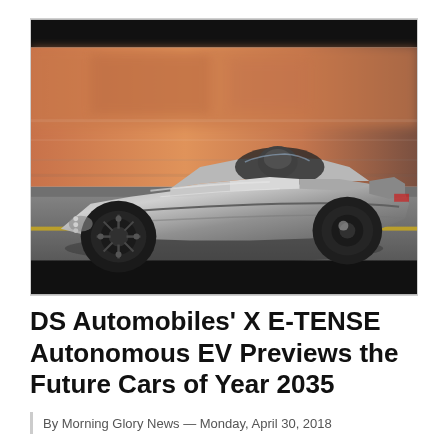[Figure (photo): A futuristic silver concept sports car (DS Automobiles X E-TENSE) photographed in motion on a racetrack with a blurred orange/amber background. The car is ultra-low, open-cockpit (barchetta style) with large exposed wheels and angular bodywork. A yellow line is visible on the track surface. The image has a black bar at the top and bottom.]
DS Automobiles' X E-TENSE Autonomous EV Previews the Future Cars of Year 2035
By Morning Glory News — Monday, April 30, 2018